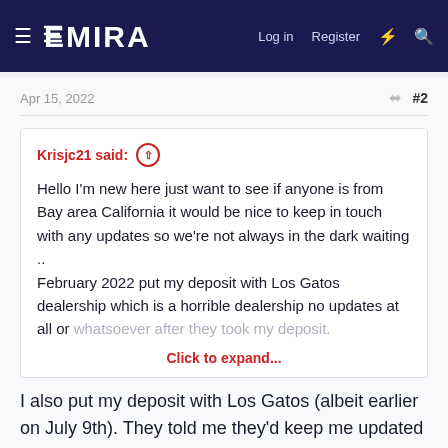EMIRA — Log in  Register
Apr 15, 2022   #2
Krisjc21 said: ↑

Hello I'm new here just want to see if anyone is from Bay area California it would be nice to keep in touch with any updates so we're not always in the dark waiting ..
February 2022 put my deposit with Los Gatos dealership which is a horrible dealership no updates at all or whatsoever after they took my deposit.

Click to expand...
I also put my deposit with Los Gatos (albeit earlier on July 9th). They told me they'd keep me updated with any and all news they receive along the way from Lotus. Haven't heard a peep from them until I messaged them